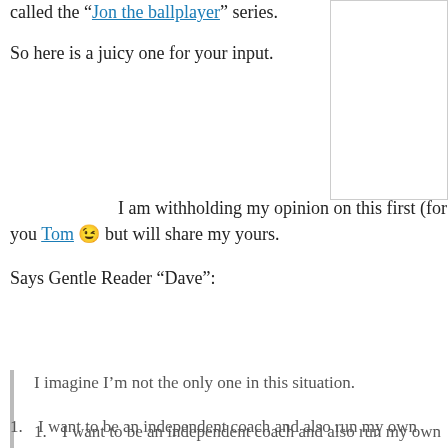called the “Jon the ballplayer” series.
So here is a juicy one for your input.  I am withholding my opinion on this first (for you Tom 😉 but will share my yours.
Says Gentle Reader “Dave”:
I imagine I’m not the only one in this situation.
I want to be an independent coach and also run my own pr…
I already have a couple of clients and several more leads an… to quit my day job now to make room for growing that busin…
My wife is going to try to change employers (she is a teache… the prospect of neither of us being in a stable job is too mu…